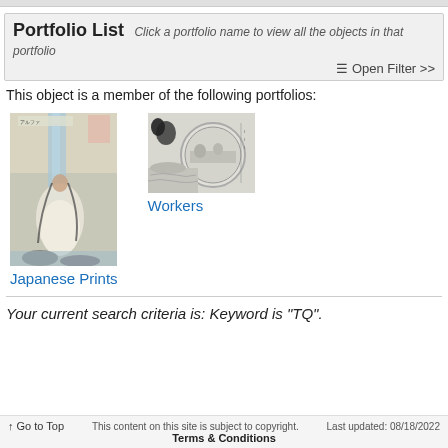Portfolio List Click a portfolio name to view all the objects in that portfolio
☰ Open Filter >>
This object is a member of the following portfolios:
[Figure (photo): Thumbnail image of a Japanese woodblock print showing a figure near a waterfall]
Japanese Prints
[Figure (photo): Thumbnail image showing workers scene, circular coin-like or medallion imagery]
Workers
Your current search criteria is: Keyword is "TQ".
↑ Go to Top   This content on this site is subject to copyright.   Last updated: 08/18/2022   Terms & Conditions